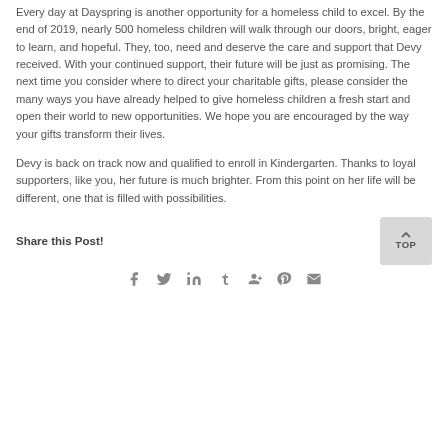Every day at Dayspring is another opportunity for a homeless child to excel. By the end of 2019, nearly 500 homeless children will walk through our doors, bright, eager to learn, and hopeful. They, too, need and deserve the care and support that Devy received. With your continued support, their future will be just as promising. The next time you consider where to direct your charitable gifts, please consider the many ways you have already helped to give homeless children a fresh start and open their world to new opportunities. We hope you are encouraged by the way your gifts transform their lives.
Devy is back on track now and qualified to enroll in Kindergarten. Thanks to loyal supporters, like you, her future is much brighter. From this point on her life will be different, one that is filled with possibilities.
Share this Post!